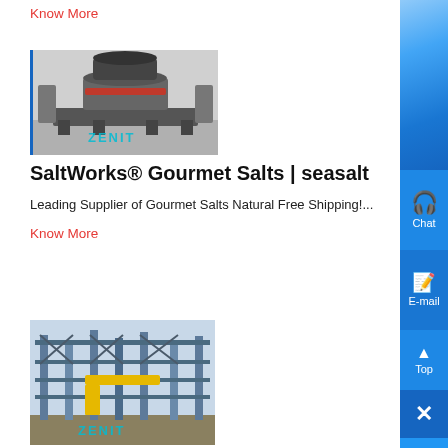Know More
[Figure (photo): Industrial machine (VSI crusher) with ZENIT watermark, bordered on left with blue line]
SaltWorks® Gourmet Salts | seasalt
Leading Supplier of Gourmet Salts Natural Free Shipping!...
Know More
[Figure (photo): Industrial steel structure construction site with ZENIT watermark]